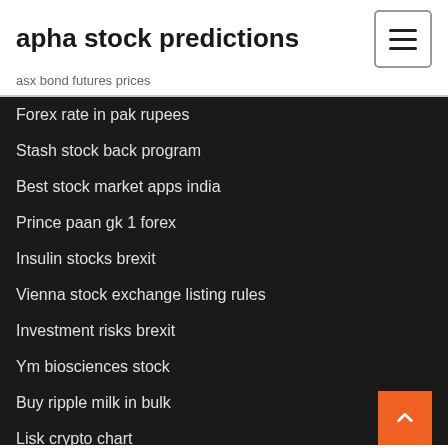apha stock predictions
asx bond futures prices
Forex rate in pak rupees
Stash stock back program
Best stock market apps india
Prince paan gk 1 forex
Insulin stocks brexit
Vienna stock exchange listing rules
Investment risks brexit
Ym biosciences stock
Buy ripple milk in bulk
Lisk crypto chart